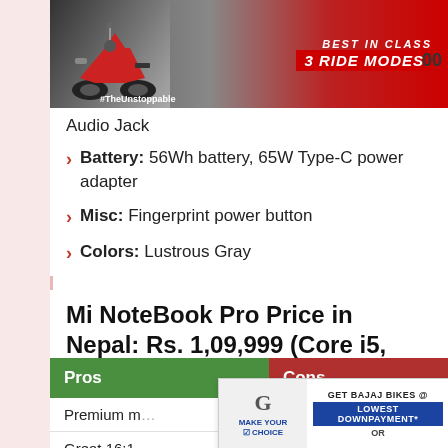[Figure (photo): Motorcycle advertisement banner with Apache 3 Ride Modes, best in class tagline and #TheUnstoppable hashtag]
Audio Jack
Battery: 56Wh battery, 65W Type-C power adapter
Misc: Fingerprint power button
Colors: Lustrous Gray
Mi NoteBook Pro Price in Nepal: Rs. 1,09,999 (Core i5, 16+512GB)
| Pros | Cons |
| --- | --- |
| Premium m… |  |
| Great 16:1… |  |
| Good batt… |  |
[Figure (photo): Bajaj bikes advertisement overlay showing G logo, Make Your Choice, Get Bajaj Bikes @ Lowest Downpayment* OR, with motorcycle image and Bajaj logo]